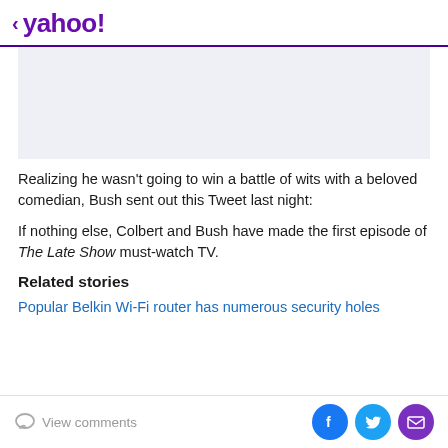< yahoo!
[Figure (other): Light blue-gray advertisement placeholder block]
Realizing he wasn't going to win a battle of wits with a beloved comedian, Bush sent out this Tweet last night:
If nothing else, Colbert and Bush have made the first episode of The Late Show must-watch TV.
Related stories
Popular Belkin Wi-Fi router has numerous security holes
View comments | social share icons: Facebook, Twitter, Email